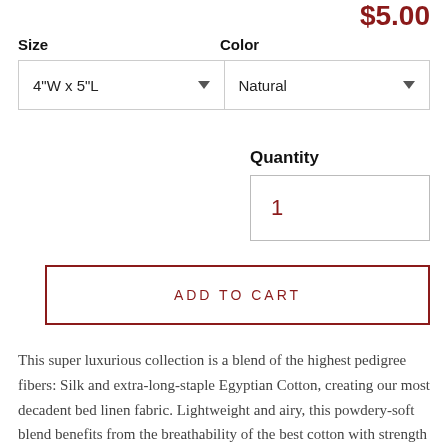$5.00
Size
Color
4"W x 5"L
Natural
Quantity
1
ADD TO CART
This super luxurious collection is a blend of the highest pedigree fibers: Silk and extra-long-staple Egyptian Cotton, creating our most decadent bed linen fabric. Lightweight and airy, this powdery-soft blend benefits from the breathability of the best cotton with strength and warmth from the silk, while Italian craftsmanship in weaving produces an ethereal bedding experience. From there, our